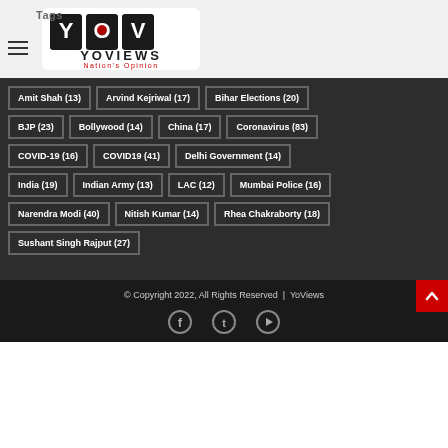Tags
[Figure (logo): YoViews - Nation's Opinion logo with Y, O, V letters, red and black color scheme]
Amit Shah (13)
Arvind Kejriwal (17)
Bihar Elections (20)
BJP (23)
Bollywood (14)
China (17)
Coronavirus (83)
COVID-19 (16)
COVID19 (41)
Delhi Government (14)
India (19)
Indian Army (13)
LAC (12)
Mumbai Police (16)
Narendra Modi (40)
Nitish Kumar (14)
Rhea Chakraborty (18)
Sushant Singh Rajput (27)
© Copyright 2022, All Rights Reserved  |  YoViews